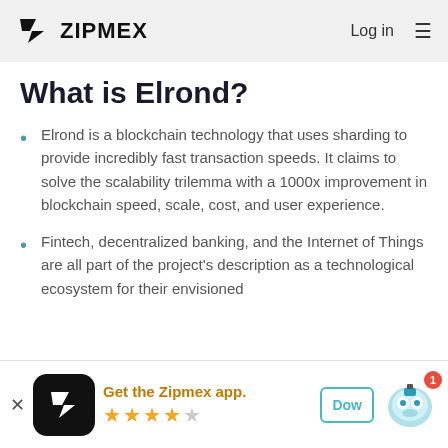ZIPMEX | Log in
What is Elrond?
Elrond is a blockchain technology that uses sharding to provide incredibly fast transaction speeds. It claims to solve the scalability trilemma with a 1000x improvement in blockchain speed, scale, cost, and user experience.
Fintech, decentralized banking, and the Internet of Things are all part of the project's description as a technological ecosystem for their envisioned
[Figure (other): Get the Zipmex app banner with app icon, 4.5 star rating, and download button]
Get the Zipmex app.